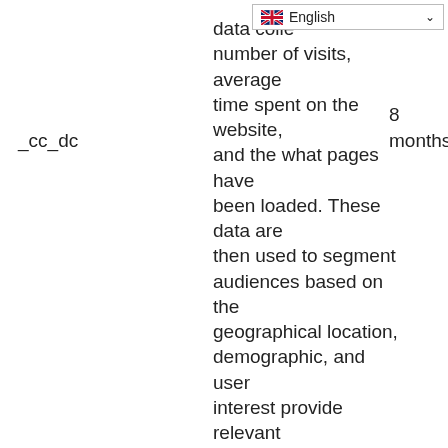data collected includes: number of visits, average time spent on the website, and the what pages have been loaded. These data are then used to segment audiences based on the geographical location, demographic, and user interest provide relevant content and for advertisers
8 months
_cc_dc
for targeted advertising.
We use cookies to give you the best online experience. Please let us know if you agree to all of these cookies.
Let us know you agree to cookies.
Yes, I agree
No, take me to settings
Learn more